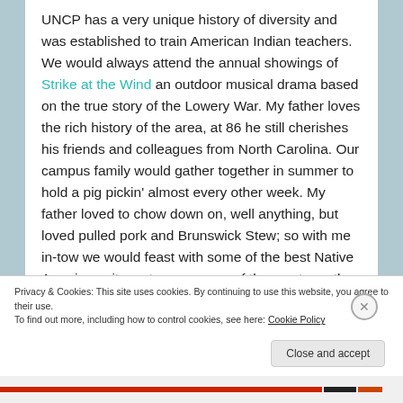UNCP has a very unique history of diversity and was established to train American Indian teachers. We would always attend the annual showings of Strike at the Wind an outdoor musical drama based on the true story of the Lowery War. My father loves the rich history of the area, at 86 he still cherishes his friends and colleagues from North Carolina. Our campus family would gather together in summer to hold a pig pickin' almost every other week. My father loved to chow down on, well anything, but loved pulled pork and Brunswick Stew; so with me in-tow we would feast with some of the best Native American pit masters on some of the most mouth-
Privacy & Cookies: This site uses cookies. By continuing to use this website, you agree to their use. To find out more, including how to control cookies, see here: Cookie Policy
Close and accept